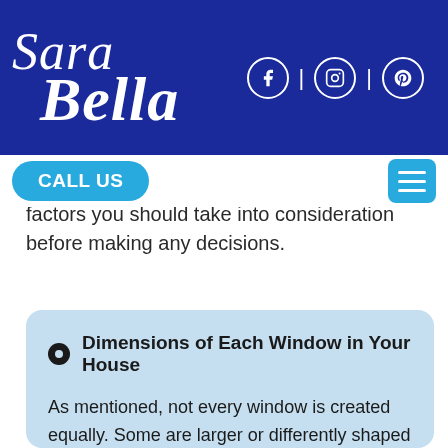Sara Bella — website header with logo and social icons (Facebook, Instagram, Pinterest)
CALL US
factors you should take into consideration before making any decisions.
Dimensions of Each Window in Your House
As mentioned, not every window is created equally. Some are larger or differently shaped depending on their function and location in your home. For that reason, it's important to carefully and accurately measure the length and width of each window throughout your home to make sure that the vertical